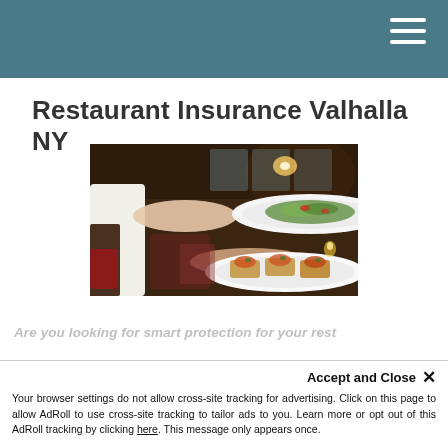Restaurant Insurance Valhalla NY — site navigation header
Restaurant Insurance Valhalla NY
[Figure (photo): A waiter carrying two white plates of food — a fresh salad on top and bruschetta/appetizers on the bottom — in an upscale restaurant dining room with warm lighting and dark wood furniture.]
Are you looking for smart protection for your rest...
Your browser settings do not allow cross-site tracking for advertising. Click on this page to allow AdRoll to use cross-site tracking to tailor ads to you. Learn more or opt out of this AdRoll tracking by clicking here. This message only appears once.